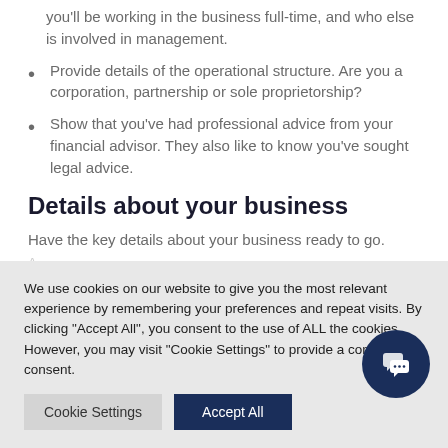you'll be working in the business full-time, and who else is involved in management.
Provide details of the operational structure. Are you a corporation, partnership or sole proprietorship?
Show that you've had professional advice from your financial advisor. They also like to know you've sought legal advice.
Details about your business
Have the key details about your business ready to go.
We use cookies on our website to give you the most relevant experience by remembering your preferences and repeat visits. By clicking "Accept All", you consent to the use of ALL the cookies. However, you may visit "Cookie Settings" to provide a controlled consent.